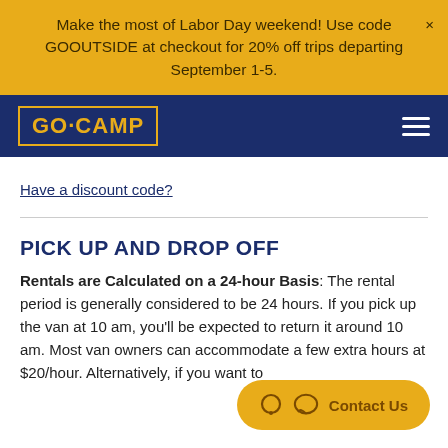Make the most of Labor Day weekend! Use code GOOUTSIDE at checkout for 20% off trips departing September 1-5.
[Figure (logo): GO·CAMP logo in yellow on dark navy blue background with hamburger menu icon]
Have a discount code?
PICK UP AND DROP OFF
Rentals are Calculated on a 24-hour Basis: The rental period is generally considered to be 24 hours. If you pick up the van at 10 am, you'll be expected to return it around 10 am. Most van owners can accommodate a few extra hours at $20/hour. Alternatively, if you want to